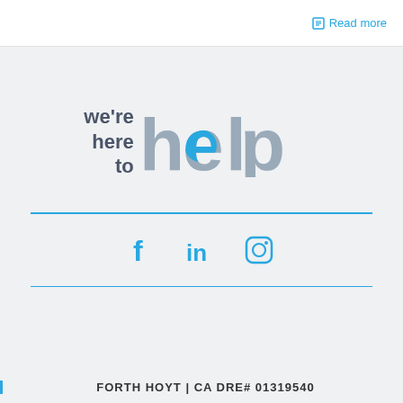Read more
[Figure (logo): We're here to help logo with stylized text]
[Figure (infographic): Social media icons: Facebook, LinkedIn, Instagram]
FORTH HOYT | CA DRE# 01319540